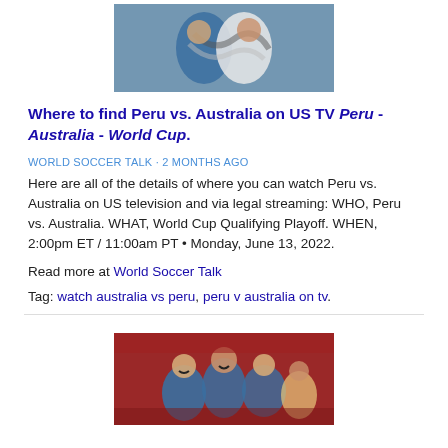[Figure (photo): Soccer players in a scuffle or tackle during a match, one in white jersey (Peru), one in blue (Australia)]
Where to find Peru vs. Australia on US TV Peru - Australia - World Cup.
WORLD SOCCER TALK • 2 MONTHS AGO
Here are all of the details of where you can watch Peru vs. Australia on US television and via legal streaming: WHO, Peru vs. Australia. WHAT, World Cup Qualifying Playoff. WHEN, 2:00pm ET / 11:00am PT • Monday, June 13, 2022.
Read more at World Soccer Talk
Tag: watch australia vs peru, peru v australia on tv.
[Figure (photo): Soccer players celebrating together in a crowd, mouths open celebrating a goal or win]